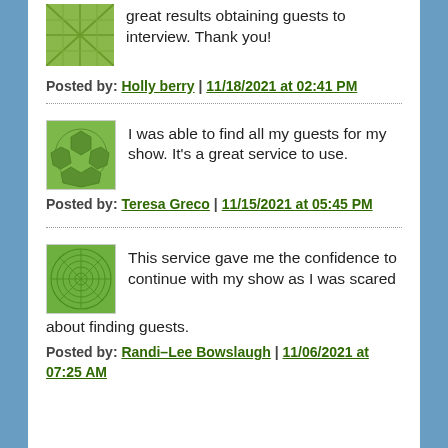great results obtaining guests to interview. Thank you!
Posted by: Holly berry | 11/18/2021 at 02:41 PM
I was able to find all my guests for my show. It's a great service to use.
Posted by: Teresa Greco | 11/15/2021 at 05:45 PM
This service gave me the confidence to continue with my show as I was scared about finding guests.
Posted by: Randi–Lee Bowslaugh | 11/06/2021 at 07:25 AM